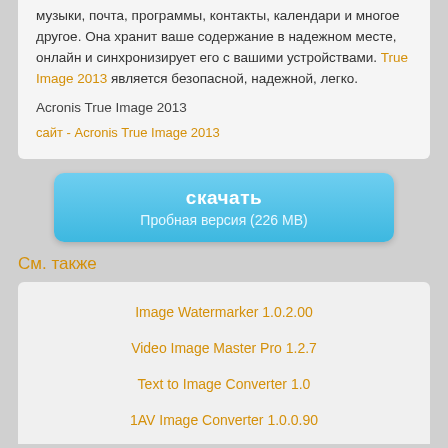музыки, почта, программы, контакты, календари и многое другое. Она хранит ваше содержание в надежном месте, онлайн и синхронизирует его с вашими устройствами. True Image 2013 является безопасной, надежной, легко.
Acronis True Image 2013
сайт - Acronis True Image 2013
скачать
Пробная версия  (226 МВ)
См. также
Image Watermarker 1.0.2.00
Video Image Master Pro 1.2.7
Text to Image Converter 1.0
1AV Image Converter 1.0.0.90